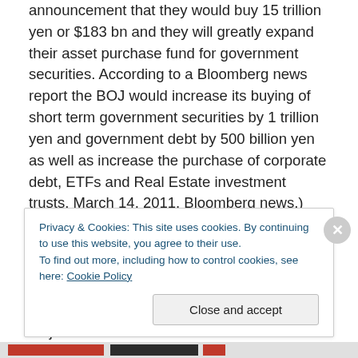announcement that they would buy 15 trillion yen or $183 bn and they will greatly expand their asset purchase fund for government securities. According to a Bloomberg news report the BOJ would increase its buying of short term government securities by 1 trillion yen and government debt by 500 billion yen as well as increase the purchase of corporate debt, ETFs and Real Estate investment trusts. March 14, 2011, Bloomberg news.) So if we sum up these various efforts it is quite clear that in the five economies that represent more than 55% of the global economy quantitative easing has played a major
Privacy & Cookies: This site uses cookies. By continuing to use this website, you agree to their use.
To find out more, including how to control cookies, see here: Cookie Policy